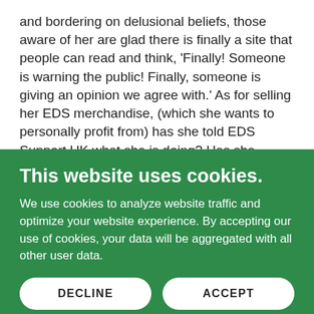and bordering on delusional beliefs, those aware of her are glad there is finally a site that people can read and think, 'Finally!  Someone is warning the public! Finally, someone is giving an opinion we agree with.'  As for selling her EDS merchandise, (which she wants to personally profit from) has she told EDS Support UK what she is doing? Has she offered to partner with them?
So let us begin the 'lives review.  (There are many to get through so good thing we took notes!)
First up:   FB Live: Phone call has been made to Harriet
This website uses cookies.
We use cookies to analyze website traffic and optimize your website experience. By accepting our use of cookies, your data will be aggregated with all other user data.
DECLINE
ACCEPT